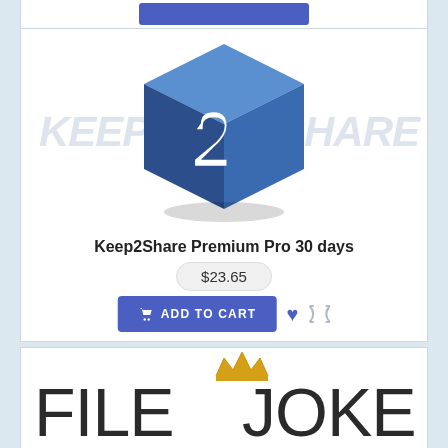[Figure (logo): Keep2Share blue 3D cube logo with text KEEP and SHARE on sides]
Keep2Share Premium Pro 30 days
$23.65
ADD TO CART
[Figure (logo): FileJoker logo with golden crown over the J letter]